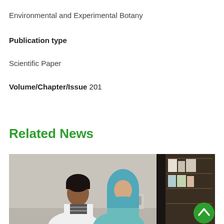Environmental and Experimental Botany
Publication type
Scientific Paper
Volume/Chapter/Issue 201
Related News
[Figure (photo): Two women researchers in a laboratory setting; one in a white lab coat and one wearing a blue hijab, working together at a lab bench with equipment and shelving visible in the background. A green scroll-to-top button is overlaid in the bottom-right corner.]